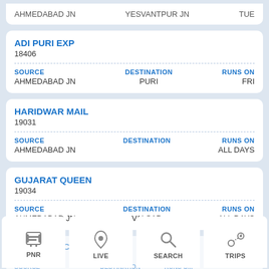AHMEDABAD JN    YESVANTPUR JN    TUE
ADI PURI EXP
18406
SOURCE: AHMEDABAD JN | DESTINATION: PURI | RUNS ON: FRI
HARIDWAR MAIL
19031
SOURCE: AHMEDABAD JN | DESTINATION: (blank) | RUNS ON: ALL DAYS
GUJARAT QUEEN
19034
SOURCE: AHMEDABAD JN | DESTINATION: VALSAD | RUNS ON: ALL DAYS
ADI ... INTERCITY EX... 190... SOURCE ... DESTINATION
PNR | LIVE | SEARCH | TRIPS